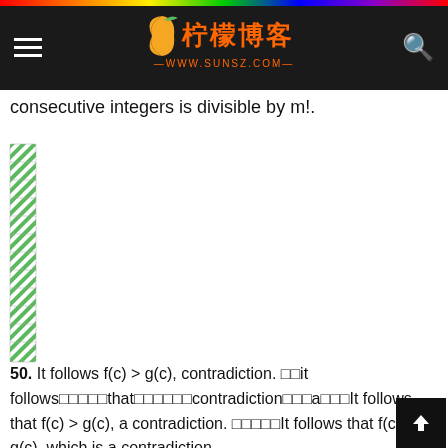柠檬博客 —WWW.SUNSZ.COM—
consecutive integers is divisible by m!.
[Figure (illustration): Stack of paper/document pages icon on left side]
50. It follows f(c) > g(c), contradiction. □□it follows□□□□□that□□□□□□contradiction□□□a□□□It follows that f(c) > g(c), a contradiction. □□□□□It follows that f(c) > g(c), which is a contradiction.
□□□□□□□□□□□□□□□□□□□□□□□□□□□□□□□□□□□□□□□□□□□□□□□□□□□□□□□□□□□□□□□□□□□□□□□□□□□□□□□□□□□□□□□□□□□□□□□□□□□□□□□□□□□□□□□□□□□□□□□□□□□□□□□□□□□□□□□□□□□□□□□□□□□□□□□□□□□